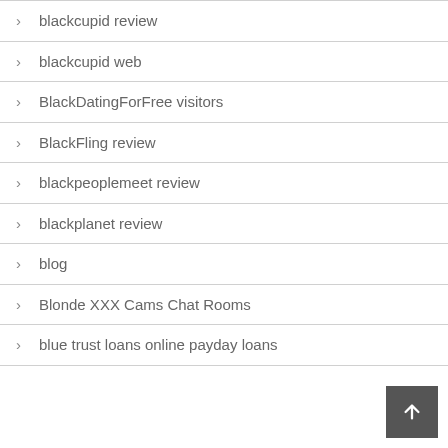blackcupid review
blackcupid web
BlackDatingForFree visitors
BlackFling review
blackpeoplemeet review
blackplanet review
blog
Blonde XXX Cams Chat Rooms
blue trust loans online payday loans